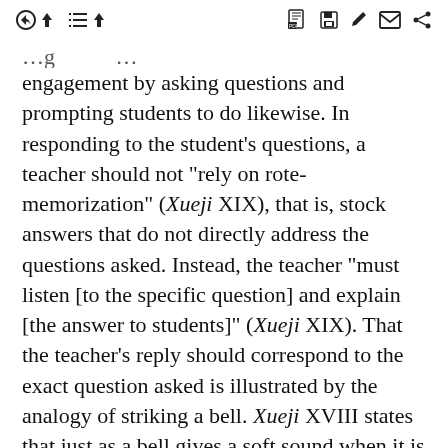toolbar icons
engagement by asking questions and prompting students to do likewise. In responding to the student's questions, a teacher should not “rely on rote-memorization” (Xueji XIX), that is, stock answers that do not directly address the questions asked. Instead, the teacher “must listen [to the specific question] and explain [the answer to students]” (Xueji XIX). That the teacher’s reply should correspond to the exact question asked is illustrated by the analogy of striking a bell. Xueji XVIII states that just as a bell gives a soft sound when it is struck lightly and gives a loud sound when it is struck hard, a skillful teacher is one who “gives [one’s] utmost to articulate [the answer to the specific question].”